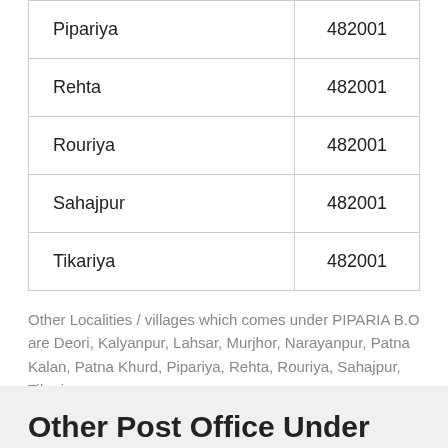|  |  |
| --- | --- |
| Pipariya | 482001 |
| Rehta | 482001 |
| Rouriya | 482001 |
| Sahajpur | 482001 |
| Tikariya | 482001 |
Other Localities / villages which comes under PIPARIA B.O are Deori, Kalyanpur, Lahsar, Murjhor, Narayanpur, Patna Kalan, Patna Khurd, Pipariya, Rehta, Rouriya, Sahajpur, Tikariya.
Other Post Office Under...